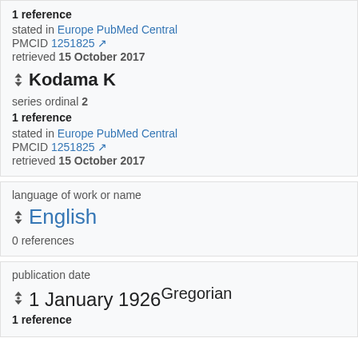1 reference
stated in Europe PubMed Central
PMCID 1251825
retrieved 15 October 2017
Kodama K
series ordinal 2
1 reference
stated in Europe PubMed Central
PMCID 1251825
retrieved 15 October 2017
language of work or name
English
0 references
publication date
1 January 1926 Gregorian
1 reference